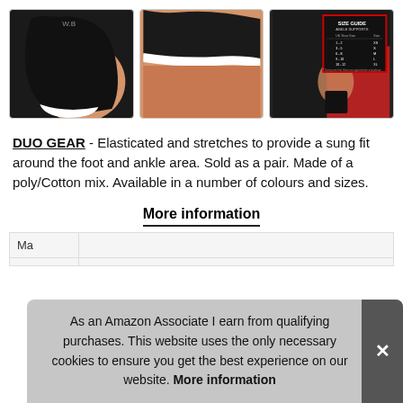[Figure (photo): Three product images of a black ankle support brace: left image shows side view of ankle with black brace and white trim, middle image shows close-up of the white trim detail on the ankle, right image shows a size guide chart for ankle supports with UK shoe sizes and corresponding sizes XS through XL.]
DUO GEAR - Elasticated and stretches to provide a sung fit around the foot and ankle area. Sold as a pair. Made of a poly/Cotton mix. Available in a number of colours and sizes.
More information
Ma
As an Amazon Associate I earn from qualifying purchases. This website uses the only necessary cookies to ensure you get the best experience on our website. More information